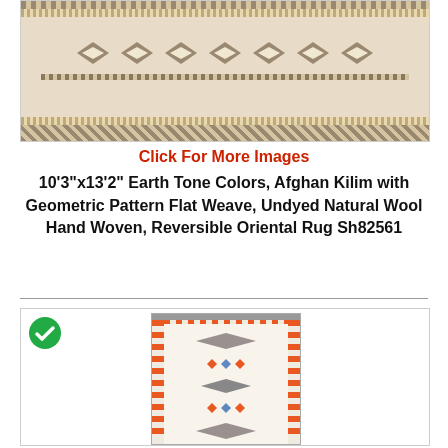[Figure (photo): Top portion of an Afghan Kilim rug with geometric diamond patterns in earth tones (tan, beige, brown) with decorative border strips]
Click For More Images
10'3"x13'2" Earth Tone Colors, Afghan Kilim with Geometric Pattern Flat Weave, Undyed Natural Wool Hand Woven, Reversible Oriental Rug Sh82561
[Figure (photo): Afghan Kilim rug with geometric pattern featuring orange, blue, gray diamond motifs on cream background with a green checkmark icon in the top-left corner]